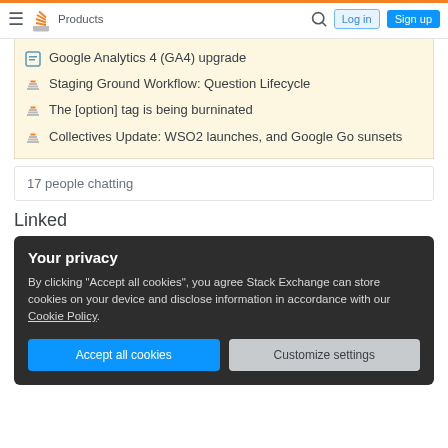Stack Overflow navigation bar with hamburger menu, logo, Products, search, Log in, Sign up
Google Analytics 4 (GA4) upgrade
Staging Ground Workflow: Question Lifecycle
The [option] tag is being burninated
Collectives Update: WSO2 launches, and Google Go sunsets
17 people chatting
Linked
Your privacy
By clicking "Accept all cookies", you agree Stack Exchange can store cookies on your device and disclose information in accordance with our Cookie Policy.
Accept all cookies  Customize settings